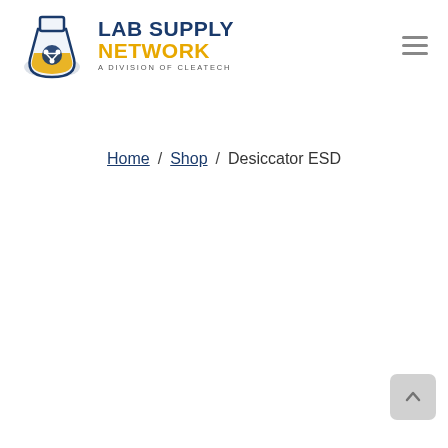[Figure (logo): Lab Supply Network logo — a division of Cleatech. Features a blue and yellow flask icon with a share/network symbol, and the text LAB SUPPLY NETWORK in bold blue and gold, with 'A DIVISION OF CLEATECH' below.]
Home / Shop / Desiccator ESD